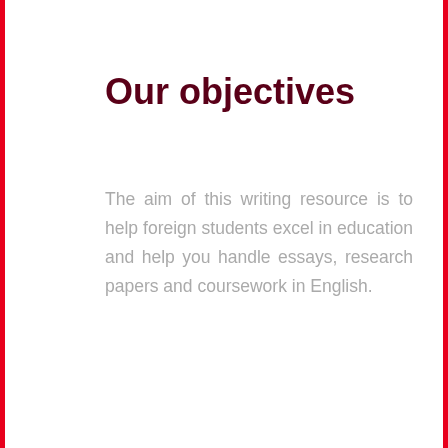Our objectives
The aim of this writing resource is to help foreign students excel in education and help you handle essays, research papers and coursework in English.